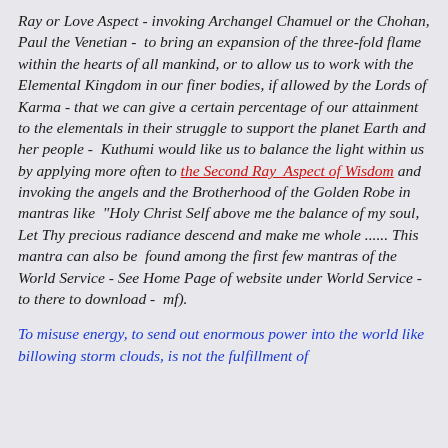Ray or Love Aspect - invoking Archangel Chamuel or the Chohan, Paul the Venetian - to bring an expansion of the three-fold flame within the hearts of all mankind, or to allow us to work with the Elemental Kingdom in our finer bodies, if allowed by the Lords of Karma - that we can give a certain percentage of our attainment to the elementals in their struggle to support the planet Earth and her people - Kuthumi would like us to balance the light within us by applying more often to the Second Ray Aspect of Wisdom and invoking the angels and the Brotherhood of the Golden Robe in mantras like "Holy Christ Self above me the balance of my soul, Let Thy precious radiance descend and make me whole ...... This mantra can also be found among the first few mantras of the World Service - See Home Page of website under World Service - to there to download - mf).
To misuse energy, to send out enormous power into the world like billowing storm clouds, is not the fulfillment of